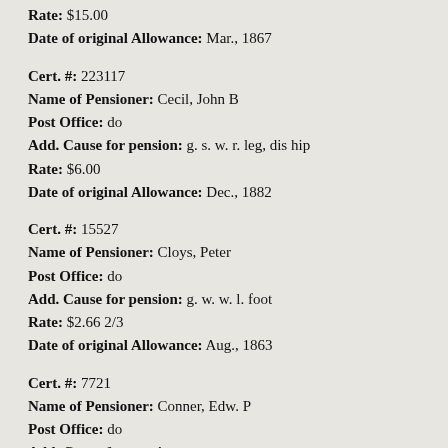Rate: $15.00
Date of original Allowance: Mar., 1867
Cert. #: 223117
Name of Pensioner: Cecil, John B
Post Office: do
Add. Cause for pension: g. s. w. r. leg, dis hip
Rate: $6.00
Date of original Allowance: Dec., 1882
Cert. #: 15527
Name of Pensioner: Cloys, Peter
Post Office: do
Add. Cause for pension: g. w. w. l. foot
Rate: $2.66 2/3
Date of original Allowance: Aug., 1863
Cert. #: 7721
Name of Pensioner: Conner, Edw. P
Post Office: do
Add. Cause for pension:
Rate: $20.00